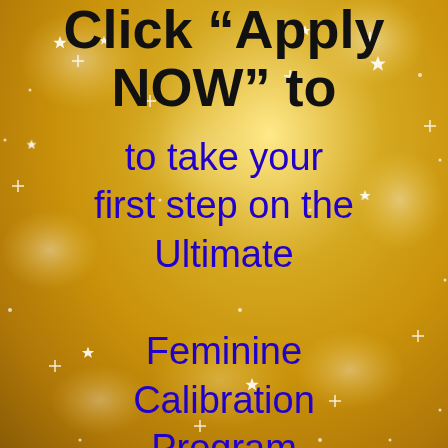Click “Apply NOW” to
to take your first step on the Ultimate Feminine Calibration Program